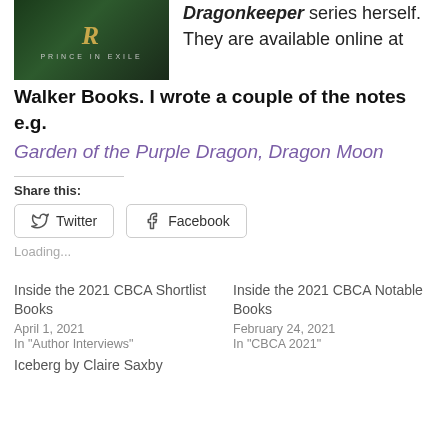[Figure (illustration): Book cover showing 'Prince in Exile' with dark green background and decorative letter R in gold]
Dragonkeeper series herself. They are available online at Walker Books. I wrote a couple of the notes e.g.
Garden of the Purple Dragon, Dragon Moon
Share this:
Twitter  Facebook
Loading...
Inside the 2021 CBCA Shortlist Books
April 1, 2021
In "Author Interviews"
Inside the 2021 CBCA Notable Books
February 24, 2021
In "CBCA 2021"
Iceberg by Claire Saxby